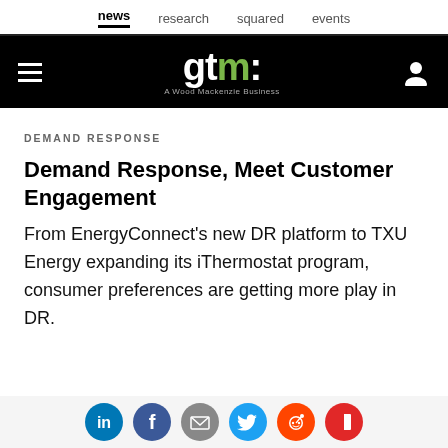news   research   squared   events
[Figure (logo): GTM (Greentech Media) logo on black background — 'gtm:' in white and green, subtitle 'A Wood Mackenzie Business']
DEMAND RESPONSE
Demand Response, Meet Customer Engagement
From EnergyConnect's new DR platform to TXU Energy expanding its iThermostat program, consumer preferences are getting more play in DR.
Social share icons: LinkedIn, Facebook, Email, Twitter, Reddit, Flipboard